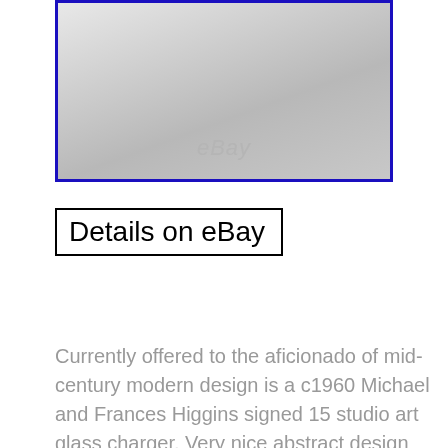[Figure (photo): Product photo of a studio art glass charger with eBay watermark, shown against light gray background, bordered in blue]
Details on eBay
Currently offered to the aficionado of mid-century modern design is a c1960 Michael and Frances Higgins signed 15 studio art glass charger. Very nice abstract design with gold overlays and windows of color. Small rim chip which is smooth to the touch. Could easily be polished out. Includes a lucite stand to display up against the wall. Nice piece for the collector! The item “Midcentury modern Signed Higgins Studio Art Glass 15 Charger withstand Eames Era” is in sale since Friday, May 13, 2016. This item is in the category “Pottery & Glass\Glass\Art Glass\North American\Other North American Art Glass”. The seller is “mommado” and is located in Denville, New Jersey. This item can be shipped to United States, to Canada, to United